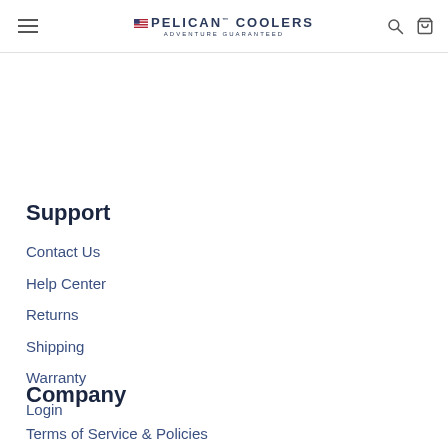PELICAN COOLERS ADVENTURE GUARANTEED
Support
Contact Us
Help Center
Returns
Shipping
Warranty
Login
Company
Terms of Service & Policies
News & Updates
Custom Center